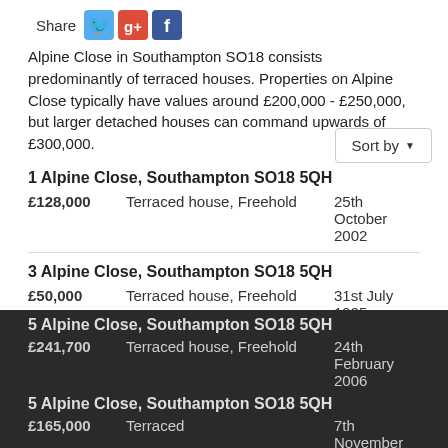[Figure (screenshot): Share icons: Twitter (blue bird), Google+ (red g+), Facebook (blue f)]
Alpine Close in Southampton SO18 consists predominantly of terraced houses. Properties on Alpine Close typically have values around £200,000 - £250,000, but larger detached houses can command upwards of £300,000.
1 Alpine Close, Southampton SO18 5QH
£128,000  Terraced house, Freehold  25th October 2002
3 Alpine Close, Southampton SO18 5QH
£50,000  Terraced house, Freehold  31st July 1995
5 Alpine Close, Southampton SO18 5QH
£241,700  Terraced house, Freehold  24th February 2006
5 Alpine Close, Southampton SO18 5QH
£165,000  Terraced house, Freehold  7th November 2011
Notice: southamptononline.co.uk asks for your consent to use your personal data for storing and accessing information on a device (cookies, unique identifiers and other device data), use of cookies for both personalised and non-personalised advertising and content, analysis of traffic and product development. This data may be stored by, accessed by and shared with third-party vendors. Learn more